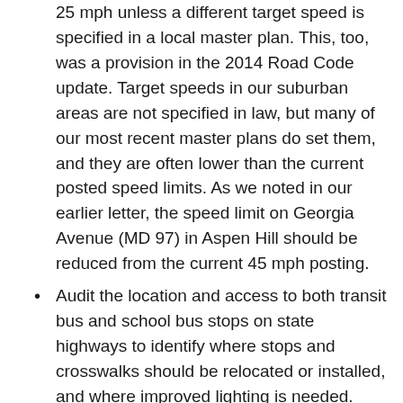25 mph unless a different target speed is specified in a local master plan. This, too, was a provision in the 2014 Road Code update. Target speeds in our suburban areas are not specified in law, but many of our most recent master plans do set them, and they are often lower than the current posted speed limits. As we noted in our earlier letter, the speed limit on Georgia Avenue (MD 97) in Aspen Hill should be reduced from the current 45 mph posting.
Audit the location and access to both transit bus and school bus stops on state highways to identify where stops and crosswalks should be relocated or installed, and where improved lighting is needed.
Identify where the next set of full pedestrian signals and HAWK signals will be implemented, and to develop the warrants for these types of signals.
Incorporate officially designated Safe Routes to Schools in the prioritization for pedestrian safety improvements.